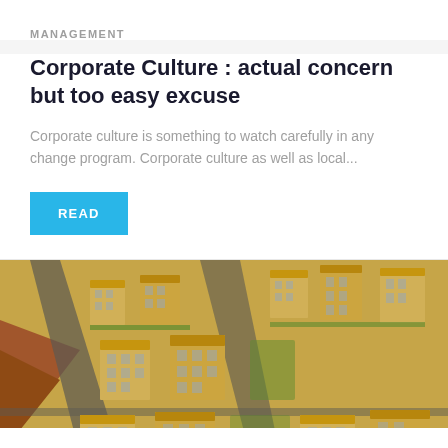MANAGEMENT
Corporate Culture : actual concern but too easy excuse
Corporate culture is something to watch carefully in any change program. Corporate culture as well as local...
READ
[Figure (photo): Aerial view of a residential housing development with multiple yellow apartment buildings, roads, and green spaces surrounded by earthworks and reddish-brown terrain.]